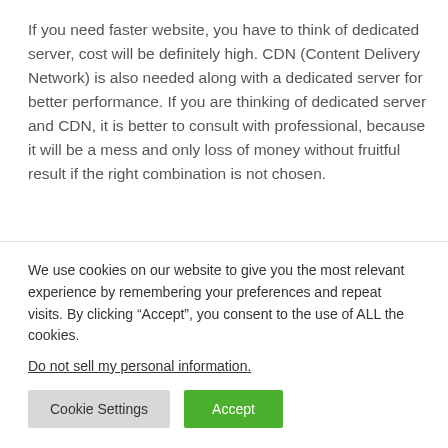If you need faster website, you have to think of dedicated server, cost will be definitely high. CDN (Content Delivery Network) is also needed along with a dedicated server for better performance. If you are thinking of dedicated server and CDN, it is better to consult with professional, because it will be a mess and only loss of money without fruitful result if the right combination is not chosen.
We use cookies on our website to give you the most relevant experience by remembering your preferences and repeat visits. By clicking “Accept”, you consent to the use of ALL the cookies.
Do not sell my personal information.